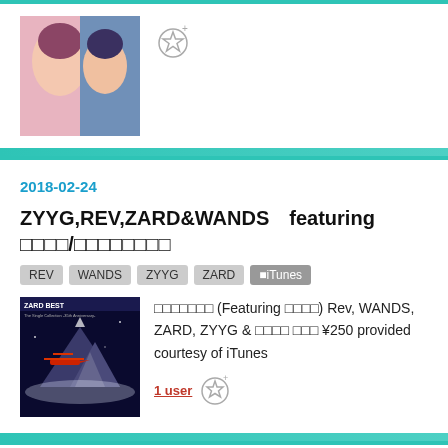[Figure (photo): Album cover thumbnail at top of page showing a face/portrait]
[Figure (illustration): Gray star/bookmark icon next to top thumbnail]
2018-02-24
ZYYG,REV,ZARD&WANDS  featuring □□□□/□□□□□□□□
REV
WANDS
ZYYG
ZARD
■iTunes
[Figure (photo): ZARD BEST album cover showing red biplane over snowy mountain landscape]
□□□□□□□ (Featuring □□□□) Rev, WANDS, ZARD, ZYYG & □□□□ □□□ ¥250 provided courtesy of iTunes
1 user
2017-12-05
WANDS/□□□